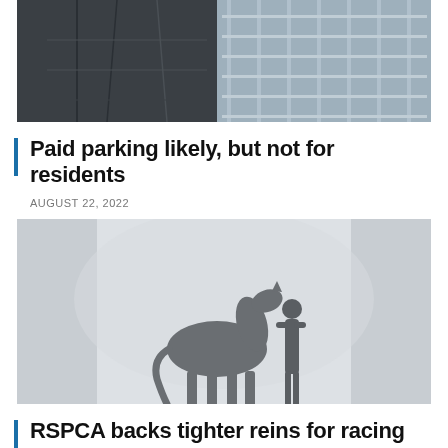[Figure (photo): Partial top photo showing what appears to be a vehicle or machinery with metal gratings/bars — cropped at the top]
Paid parking likely, but not for residents
AUGUST 22, 2022
[Figure (photo): Silhouette of a horse and a person standing together, set against a light misty background, possibly at a racing or equestrian facility]
RSPCA backs tighter reins for racing industry